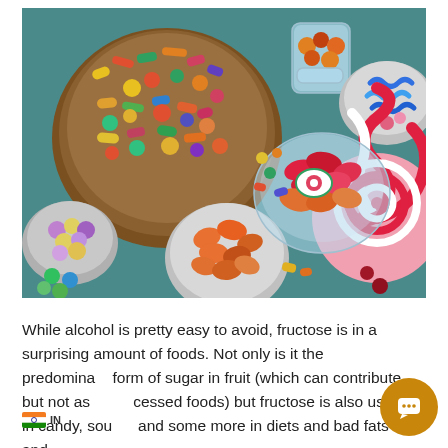[Figure (photo): Overhead view of multiple bowls and a table covered with colorful candies, gummy bears, lollipops, jelly beans, chocolate pieces, and various sugary sweets arranged on a teal/blue surface.]
While alcohol is pretty easy to avoid, fructose is in a surprising amount of foods. Not only is it the predominant form of sugar in fruit (which can contribute but not as in processed foods) but fructose is also used in candy, sou... and some more in diets and bad fats and...